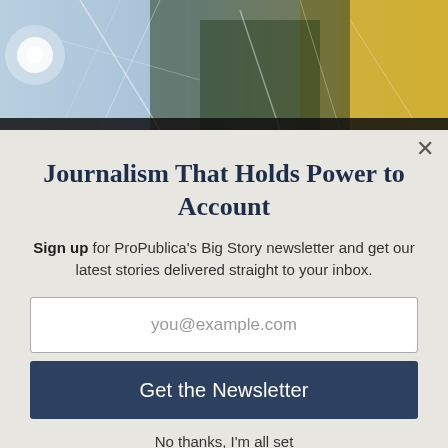[Figure (photo): Hero image showing abstract broken mirror/glass reflections with golden and blue tones, sunlight flare on left side]
Journalism That Holds Power to Account
Sign up for ProPublica's Big Story newsletter and get our latest stories delivered straight to your inbox.
you@example.com (email input placeholder)
Get the Newsletter (submit button)
No thanks, I'm all set
This site is protected by reCAPTCHA and the Google Privacy Policy and Terms of Service apply.